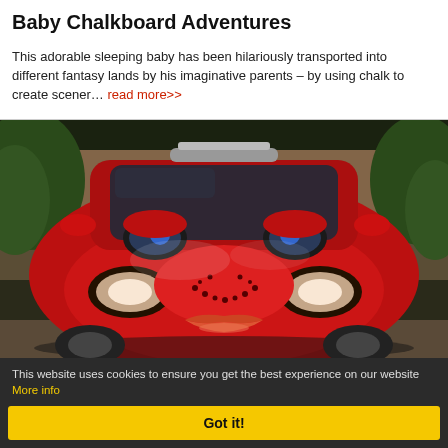Baby Chalkboard Adventures
This adorable sleeping baby has been hilariously transported into different fantasy lands by his imaginative parents – by using chalk to create scener… read more>>
[Figure (photo): A red SUV customized to look like a face with eyes above the windshield and lips/nose on the front bumper, parked in a driveway with brick wall and trees in background.]
This website uses cookies to ensure you get the best experience on our website More info  Got it!